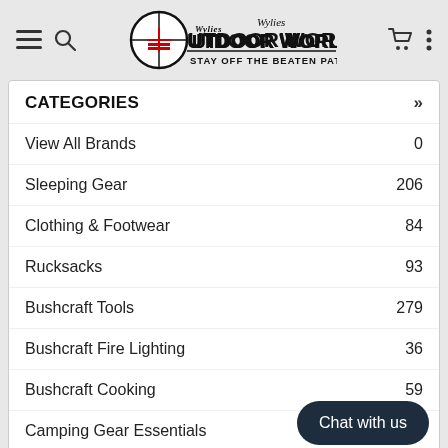[Figure (logo): Wylies Outdoor World logo with crosshair circle and text 'STAY OFF THE BEATEN PATH!']
CATEGORIES
View All Brands  0
Sleeping Gear  206
Clothing & Footwear  84
Rucksacks  93
Bushcraft Tools  279
Bushcraft Fire Lighting  36
Bushcraft Cooking  59
Camping Gear Essentials  127
Chat with us